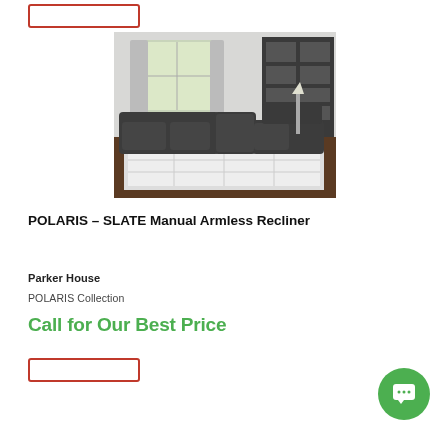[Figure (photo): Dark slate gray large sectional recliner sofa in a modern living room with large window, patterned rug, and dark bookshelf in background]
POLARIS – SLATE Manual Armless Recliner
Parker House
POLARIS Collection
Call for Our Best Price